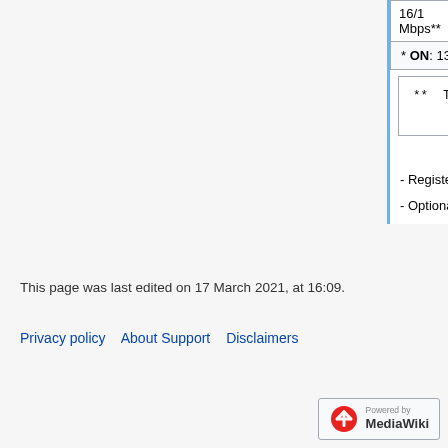| 16/1 Mbps** | ADSL | $54.95/month + tax* | $61.95/m + tax* |
| --- | --- | --- | --- |
| * ON: 13% HST; QC: 5% G... |
** These plans are no longer a new DSL signups as of Apri...
Notes:
- Registered not-for-profits and charities a discount on the organizational ac
- Optional static IP is $4 + tax p
This page was last edited on 17 March 2021, at 16:09.
Privacy policy   About Support   Disclaimers